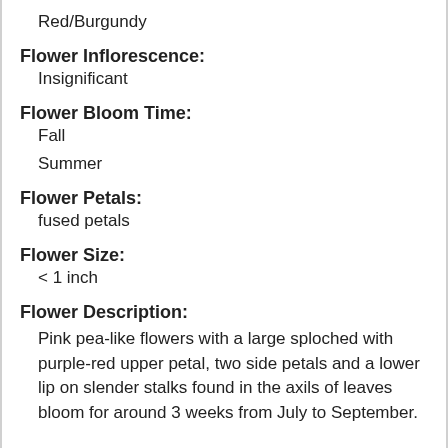Red/Burgundy
Flower Inflorescence:
Insignificant
Flower Bloom Time:
Fall
Summer
Flower Petals:
fused petals
Flower Size:
< 1 inch
Flower Description:
Pink pea-like flowers with a large sploched with purple-red upper petal, two side petals and a lower lip on slender stalks found in the axils of leaves bloom for around 3 weeks from July to September.